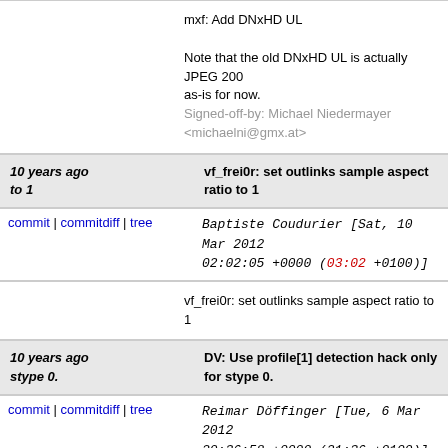mxf: Add DNxHD UL

Note that the old DNxHD UL is actually JPEG 200... as-is for now.

Signed-off-by: Michael Niedermayer <michaelni@gmx.at>
10 years ago
vf_frei0r: set outlinks sample aspect ratio to 1
commit | commitdiff | tree   Baptiste Coudurier [Sat, 10 Mar 2012 02:02:05 +0000 (03:02 +0100)]
vf_frei0r: set outlinks sample aspect ratio to 1
10 years ago
DV: Use profile[1] detection hack only for stype 0.
commit | commitdiff | tree   Reimar Döffinger [Tue, 6 Mar 2012 20:36:58 +0000 (21:36 +0100)]
DV: Use profile[1] detection hack only for stype 0.

The two samples both have stype 0.
Without this extra check, the code breaks 4:2:2 dv (stype 4), since that has the same resolution.

Signed-off-by: Reimar Döffinger